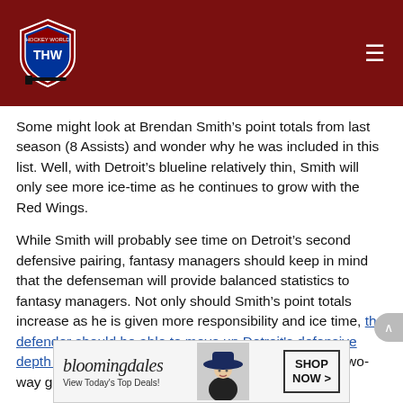THW logo and navigation header
Some might look at Brendan Smith’s point totals from last season (8 Assists) and wonder why he was included in this list. Well, with Detroit’s blueline relatively thin, Smith will only see more ice-time as he continues to grow with the Red Wings.
While Smith will probably see time on Detroit’s second defensive pairing, fantasy managers should keep in mind that the defenseman will provide balanced statistics to fantasy managers. Not only should Smith’s point totals increase as he is given more responsibility and ice time, the defender should be able to move up Detroit's defensive depth chart if he continues to maintain a responsible two-way game for the
[Figure (photo): Bloomingdale’s advertisement banner: View Today’s Top Deals! SHOP NOW >]